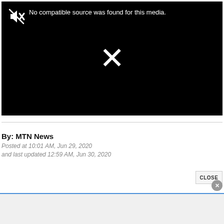[Figure (screenshot): Video player showing black screen with muted speaker icon and text 'No compatible source was found for this media.' and a white X mark in the center]
By: MTN News
Posted at 10:01 AM, Jun 29, 2020
and last updated 12:59 AM, Jun 30, 2020
[Figure (other): CLOSE button with X circle, and advertisement banner below]